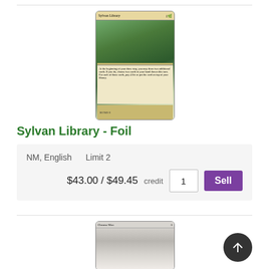[Figure (photo): Magic: The Gathering card image - Sylvan Library Foil]
Sylvan Library - Foil
| NM, English | Limit 2 | $43.00 / $49.45 credit | 1 | Sell |
[Figure (photo): Magic: The Gathering card image - Chrome Mox]